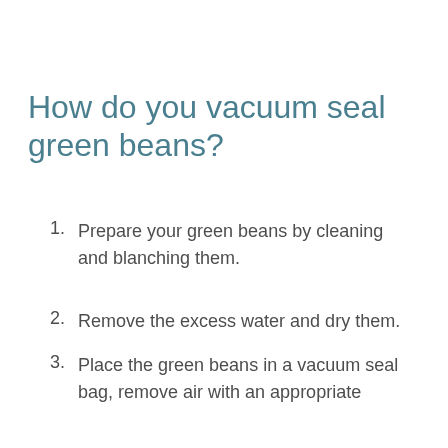How do you vacuum seal green beans?
1. Prepare your green beans by cleaning and blanching them.
2. Remove the excess water and dry them.
3. Place the green beans in a vacuum seal bag, remove air with an appropriate